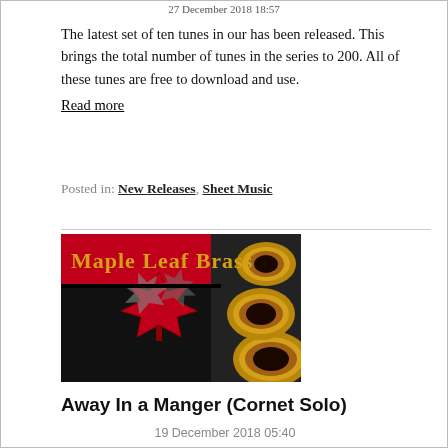27 December 2018 18:57
The latest set of ten tunes in our has been released. This brings the total number of tunes in the series to 200. All of these tunes are free to download and use.
Read more
Posted in: New Releases, Sheet Music
[Figure (logo): Maple Leaf Brass banner logo with red background, golden text reading 'Maple Leaf Brass', a red maple leaf, and brass instrument bells on the right]
Away In a Manger (Cornet Solo)
19 December 2018 05:40
James Allen has crafted a beautiful and simple cornet solo that blends together two familiar tunes associated with the …